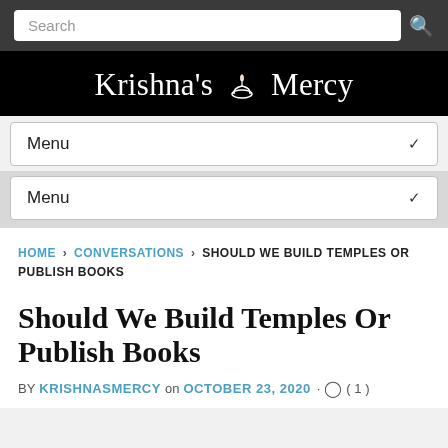Search
Krishna's Mercy
Menu
Menu
HOME › CONVERSATIONS › SHOULD WE BUILD TEMPLES OR PUBLISH BOOKS
Should We Build Temples Or Publish Books
BY KRISHNASMERCY on OCTOBER 23, 2020 · ( 1 )